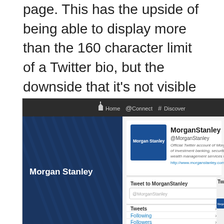page. This has the upside of being able to display more than the 160 character limit of a Twitter bio, but the downside that it's not visible to anyone accessing Twitter through a mobile client or app like Tweetdeck or CubeSocial.
[Figure (screenshot): Screenshot of Morgan Stanley's Twitter profile page showing the header navigation with Home, Connect, Discover tabs, Morgan Stanley's diagonal stripe banner, profile card with Morgan Stanley logo, account name @MorganStanley, official description text and website URL http://www.morganstanley.com, Tweet to MorganStanley input box, and navigation list items: Tweets, Following, Followers.]